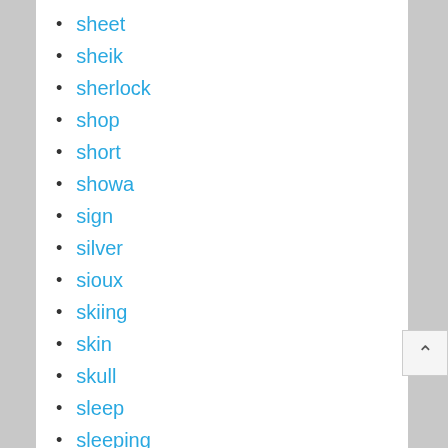sheet
sheik
sherlock
shop
short
showa
sign
silver
sioux
skiing
skin
skull
sleep
sleeping
small
smokey
snow